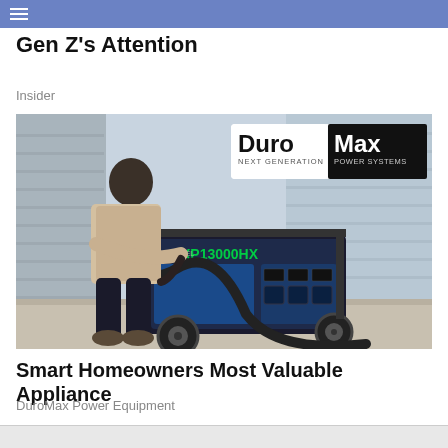Gen Z's Attention
Insider
Learn More
[Figure (photo): Man leaning over a DuroMax XP13000HX dual fuel generator outdoors near a house. DuroMax Next Generation Power Systems logo visible in upper right of image.]
Smart Homeowners Most Valuable Appliance
DuroMax Power Equipment
Learn More